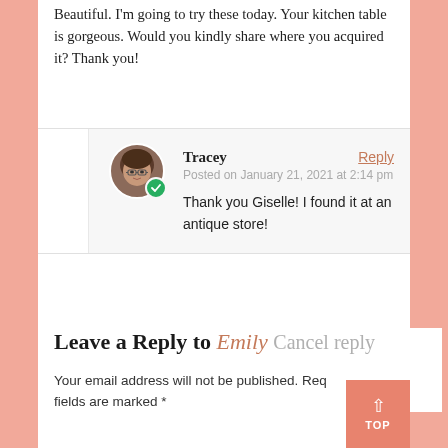Beautiful. I'm going to try these today. Your kitchen table is gorgeous. Would you kindly share where you acquired it? Thank you!
Tracey
Posted on January 21, 2021 at 2:14 pm
Thank you Giselle! I found it at an antique store!
Leave a Reply to Emily Cancel reply
Your email address will not be published. Required fields are marked *